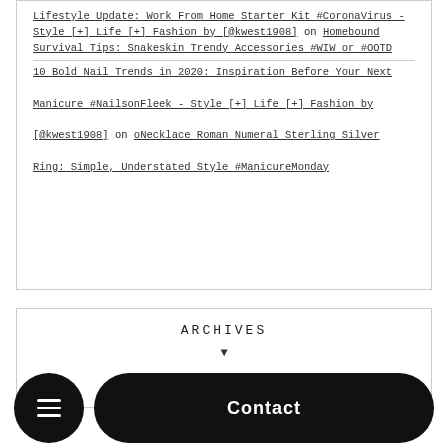Lifestyle Update: Work From Home Starter Kit #CoronaVirus - Style [+] Life [+] Fashion by [@kwest1908] on Homebound Survival Tips: Snakeskin Trendy Accessories #WIW or #OOTD
10 Bold Nail Trends in 2020: Inspiration Before Your Next Manicure #NailsonFleek - Style [+] Life [+] Fashion by [@kwest1908] on oNecklace Roman Numeral Sterling Silver Ring: Simple, Understated Style #ManicureMonday
ARCHIVES
▼
Contact